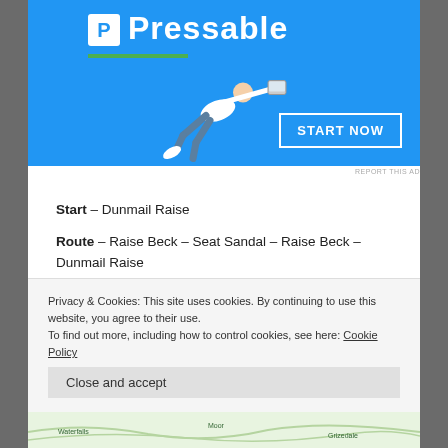[Figure (screenshot): Pressable web hosting advertisement banner with blue background, flying person holding laptop, green underline, and START NOW button]
REPORT THIS AD
Start – Dunmail Raise
Route – Raise Beck – Seat Sandal – Raise Beck – Dunmail Raise
Distance – 3.5 miles    Start time – 10.30am
Privacy & Cookies: This site uses cookies. By continuing to use this website, you agree to their use.
To find out more, including how to control cookies, see here: Cookie Policy
Close and accept
[Figure (map): Partial map showing geographical area with place names including Waterfalls]